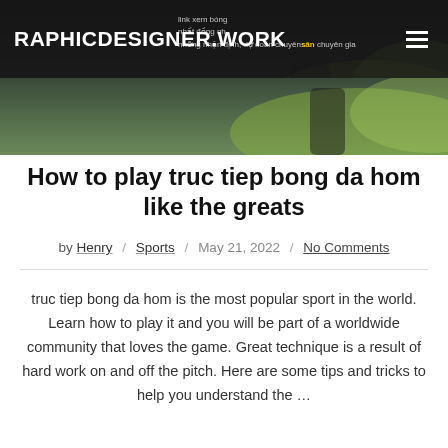RAPHICDESIGNER.WORK
[Figure (screenshot): Website header with dark overlay showing partial Vietnamese text about football/soccer streaming links, with a green sports image in the background]
How to play truc tiep bong da hom like the greats
by Henry / Sports / May 21, 2022 / No Comments
truc tiep bong da hom is the most popular sport in the world. Learn how to play it and you will be part of a worldwide community that loves the game. Great technique is a result of hard work on and off the pitch. Here are some tips and tricks to help you understand the ...